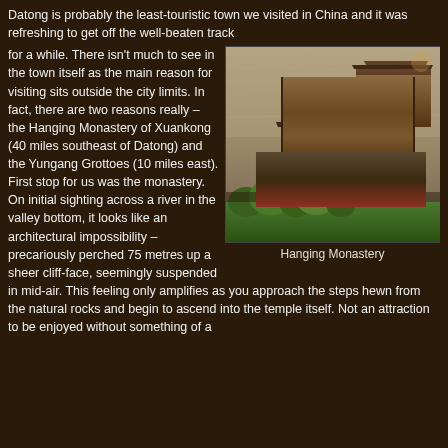Datong is probably the least-touristic town we visited in China and it was refreshing to get off the well-beaten track for a while. There isn't much to see in the town itself as the main reason for visiting sits outside the city limits. In fact, there are two reasons really – the Hanging Monastery of Xuankong (40 miles southeast of Datong) and the Yungang Grottoes (10 miles east). First stop for us was the monastery. On initial sighting across a river in the valley bottom, it looks like an architectural impossibility – precariously perched 75 metres up a sheer cliff-face, seemingly suspended in mid-air. This feeling only amplifies as you approach the steps hewn from the natural rocks and begin to ascend into the temple itself. Not an attraction to be enjoyed without something of a
[Figure (photo): Photo of the Hanging Monastery (Xuankong Si) built into a sheer cliff face, with traditional Chinese wooden structures perched high on the rock face, green trees visible at the bottom.]
Hanging Monastery